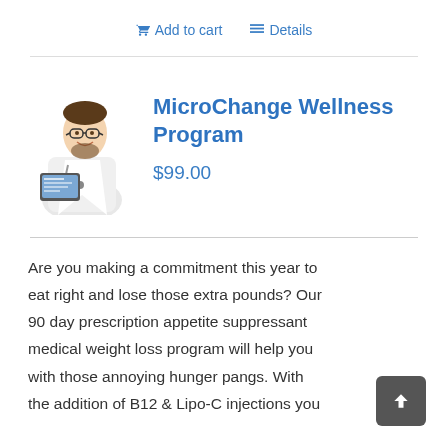🛒 Add to cart   ☰ Details
[Figure (photo): Doctor in white coat holding a tablet device, smiling, wearing glasses]
MicroChange Wellness Program
$99.00
Are you making a commitment this year to eat right and lose those extra pounds? Our 90 day prescription appetite suppressant medical weight loss program will help you with those annoying hunger pangs. With the addition of B12 & Lipo-C injections you